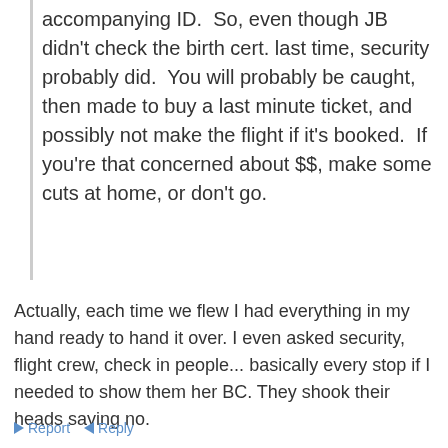accompanying ID.  So, even though JB didn't check the birth cert. last time, security probably did.  You will probably be caught, then made to buy a last minute ticket, and possibly not make the flight if it's booked.  If you're that concerned about $$, make some cuts at home, or don't go.
Actually, each time we flew I had everything in my hand ready to hand it over. I even asked security, flight crew, check in people... basically every stop if I needed to show them her BC. They shook their heads saying no.
Security never checked her. And that was for each flight.
Report   Reply